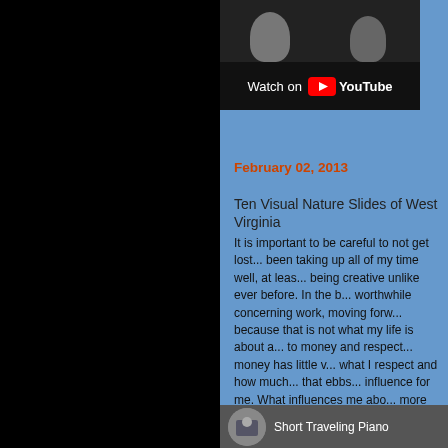[Figure (screenshot): YouTube video thumbnail showing animals, with Watch on YouTube button bar below]
February 02, 2013
Ten Visual Nature Slides of West Virginia
It is important to be careful to not get lost... been taking up all of my time well, at leas... being creative unlike ever before. In the b... worthwhile concerning work, moving forw... because that is not what my life is about a... to money and respect... money has little v... what I respect and how much... that ebbs... influence for me. What influences me abo... more influenced by people with money th... is why I always need to check myself con... people through the value of respect more... fun and influence. (love those "things, fun
[Figure (screenshot): Short Traveling Piano preview thumbnail with circular image]